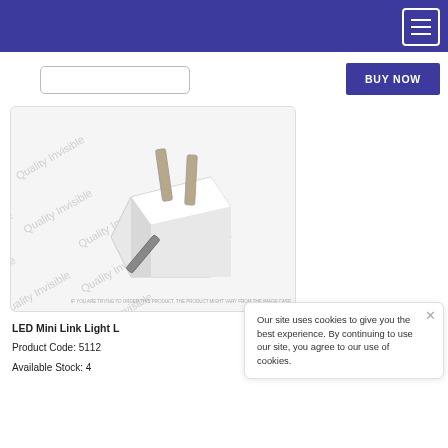BUY NOW
[Figure (photo): White electrical plug/adapter with two metal prongs on a white background with watermark text]
Our site uses cookies to give you the best experience. By continuing to use our site, you agree to our use of cookies.
LED Mini Link Light L
Product Code: 5112
Available Stock: 4